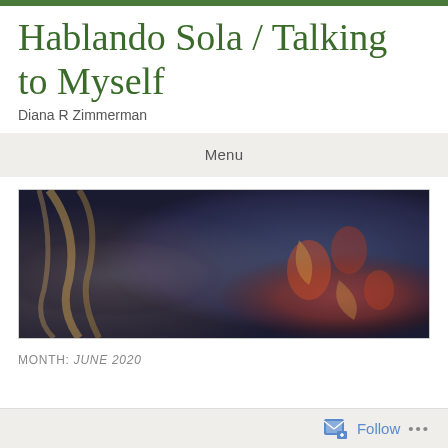Hablando Sola / Talking to Myself
Diana R Zimmerman
Menu
[Figure (photo): Close-up photo of a person's face with curly blonde hair, partially obscured; another person wearing a dark floral patterned garment is visible in the background.]
MONTH: JUNE 2020
Follow ···